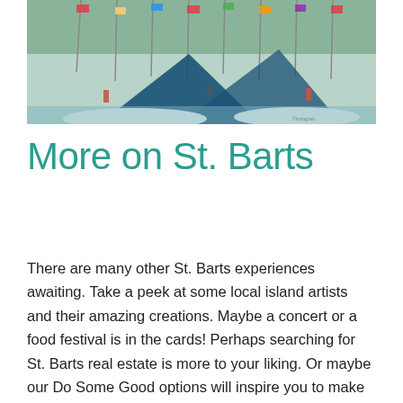[Figure (photo): A marina or harbor scene with many sailboats densely packed together, colorful flags flying from masts, blue sails visible in the foreground, people visible among the boats in the background.]
More on St. Barts
There are many other St. Barts experiences awaiting. Take a peek at some local island artists and their amazing creations. Maybe a concert or a food festival is in the cards! Perhaps searching for St. Barts real estate is more to your liking. Or maybe our Do Some Good options will inspire you to make a lasting impact on the island you love.